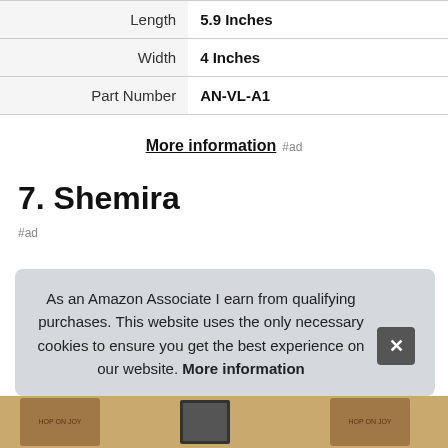| Length | 5.9 Inches |
| Width | 4 Inches |
| Part Number | AN-VL-A1 |
More information #ad
7. Shemira
#ad
As an Amazon Associate I earn from qualifying purchases. This website uses the only necessary cookies to ensure you get the best experience on our website. More information
[Figure (photo): Product images visible at bottom of page, partially obscured by cookie notice]